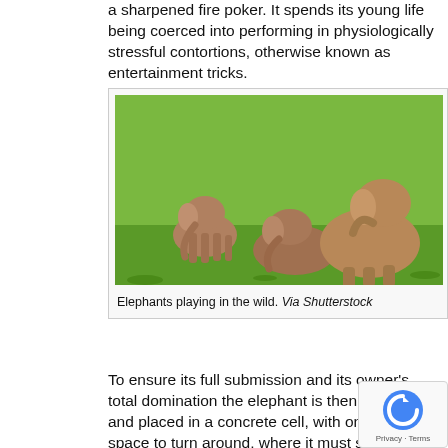a sharpened fire poker. It spends its young life being coerced into performing in physiologically stressful contortions, otherwise known as entertainment tricks.
[Figure (photo): Three baby elephants playing together on grass in the wild. Two are standing and one is sitting/rolling on the ground. Green grassy field background.]
Elephants playing in the wild. Via Shutterstock
To ensure its full submission and its owner’s total domination the elephant is then shackled and placed in a concrete cell, with only enough space to turn around, where it must stand for up to 20 hours a day. Its screams and cries are ignored. When outside alone its ankles are chained to assure the safety of the public. All of this is designed to break the animal physically and psychologically.